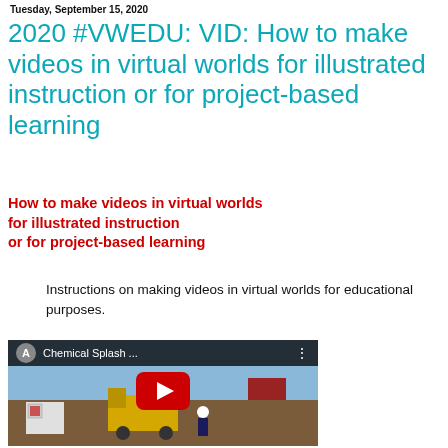Tuesday, September 15, 2020
2020 #VWEDU: VID: How to make videos in virtual worlds for illustrated instruction or for project-based learning
How to make videos in virtual worlds for illustrated instruction or for project-based learning
Instructions on making videos in virtual worlds for educational purposes.
[Figure (screenshot): YouTube video thumbnail showing a virtual world forklift scene with a worker, with a red play button overlay. Title reads 'Chemical Splash ...']